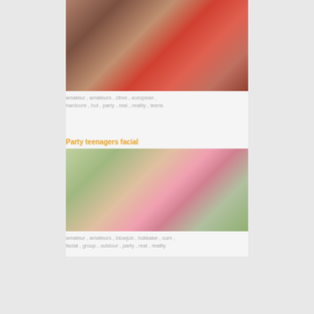[Figure (photo): People at a party, indoor nightclub scene with a shirtless man and women in red dress]
amateur , amateurs , cfnm , european , hardcore , hot , party , real , reality , teens
Party teenagers facial
[Figure (photo): Woman in floral bikini outdoors near a patio/pool area]
amateur , amateurs , blowjob , bukkake , cum , facial , group , outdoor , party , real , reality